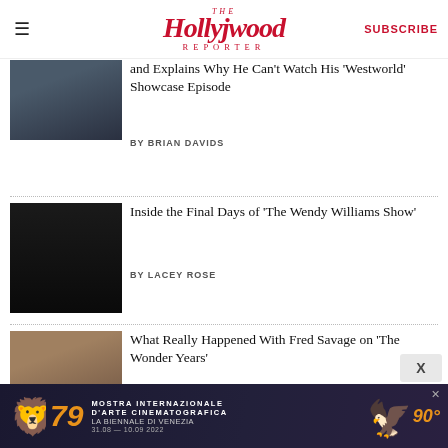The Hollywood Reporter | SUBSCRIBE
and Explains Why He Can't Watch His 'Westworld' Showcase Episode
BY BRIAN DAVIDS
Inside the Final Days of 'The Wendy Williams Show'
BY LACEY ROSE
What Really Happened With Fred Savage on 'The Wonder Years'
BY KIM MASTERS
[Figure (photo): Advertisement: Mostra Internazionale D'Arte Cinematografica La Biennale Di Venezia 79, 31.08 - 10.09 2022, 90th anniversary banner with lion logo and golden bird]